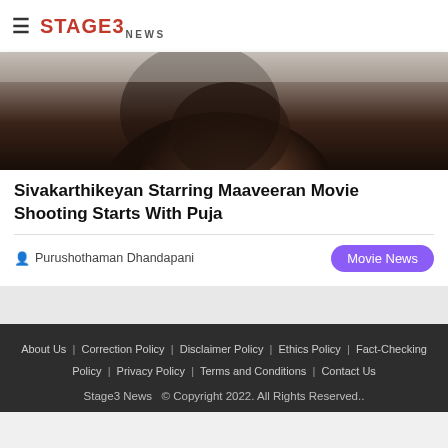≡  STAGE3 NEWS
[Figure (photo): Close-up photograph of a person's face in dark dramatic lighting, showing lower face/jaw area]
Sivakarthikeyan Starring Maaveeran Movie Shooting Starts With Puja
Purushothaman Dhandapani
Movie News
About Us | Correction Policy | Disclaimer Policy | Ethics Policy | Fact-Checking Policy | Privacy Policy | Terms and Conditions | Contact Us
Stage3 News © Copyright 2022. All Rights Reserved..